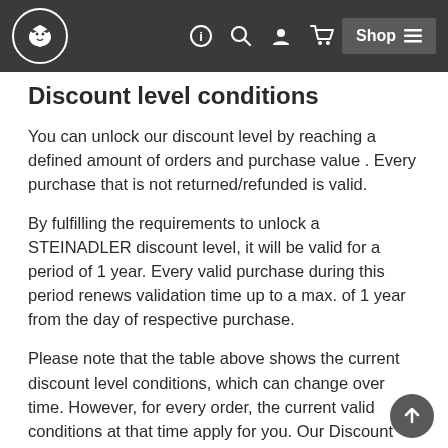Steinadler shop navigation bar
Discount level conditions
You can unlock our discount level by reaching a defined amount of orders and purchase value . Every purchase that is not returned/refunded is valid.
By fulfilling the requirements to unlock a STEINADLER discount level, it will be valid for a period of 1 year. Every valid purchase during this period renews validation time up to a max. of 1 year from the day of respective purchase.
Please note that the table above shows the current discount level conditions, which can change over time. However, for every order, the current valid conditions at that time apply for you. Our Discount levels are only valid for private customers and we are reserving the right to remove them in individual cases.